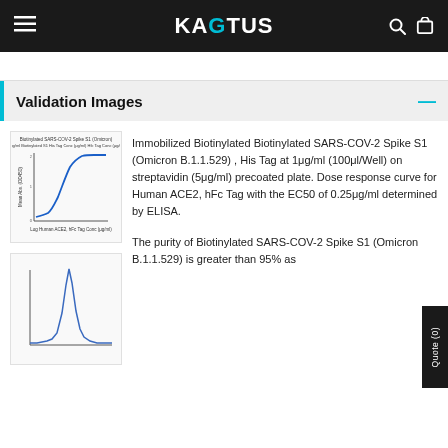KAGTUS
Validation Images
[Figure (continuous-plot): Dose response curve (sigmoid/S-curve) for Human ACE2, hFc Tag ELISA binding assay showing binding to Biotinylated SARS-COV-2 Spike S1 (Omicron B.1.1.529), His Tag. X-axis: Log Human ACE2, hFc Tag Conc (ug/ml), Y-axis: Mean Abs (OD450).]
Immobilized Biotinylated Biotinylated SARS-COV-2 Spike S1 (Omicron B.1.1.529) , His Tag at 1μg/ml (100μl/Well) on streptavidin (5μg/ml) precoated plate. Dose response curve for Human ACE2, hFc Tag with the EC50 of 0.25μg/ml determined by ELISA.
[Figure (continuous-plot): Purity/size exclusion chromatography or SDS-PAGE peak profile chart for Biotinylated SARS-COV-2 Spike S1 (Omicron B.1.1.529), showing a sharp peak indicating purity greater than 95%.]
The purity of Biotinylated SARS-COV-2 Spike S1 (Omicron B.1.1.529) is greater than 95% as